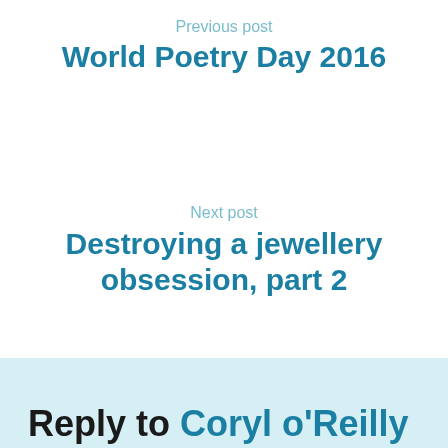Previous post
World Poetry Day 2016
Next post
Destroying a jewellery obsession, part 2
Reply to Coryl o'Reilly